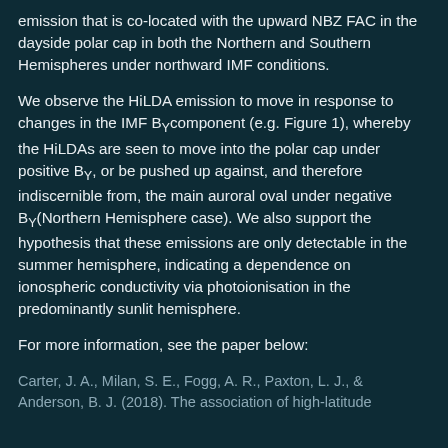emission that is co-located with the upward NBZ FAC in the dayside polar cap in both the Northern and Southern Hemispheres under northward IMF conditions.
We observe the HiLDA emission to move in response to changes in the IMF BY component (e.g. Figure 1), whereby the HiLDAs are seen to move into the polar cap under positive BY, or be pushed up against, and therefore indiscernible from, the main auroral oval under negative BY(Northern Hemisphere case). We also support the hypothesis that these emissions are only detectable in the summer hemisphere, indicating a dependence on ionospheric conductivity via photoionisation in the predominantly sunlit hemisphere.
For more information, see the paper below:
Carter, J. A., Milan, S. E., Fogg, A. R., Paxton, L. J., & Anderson, B. J. (2018). The association of high-latitude